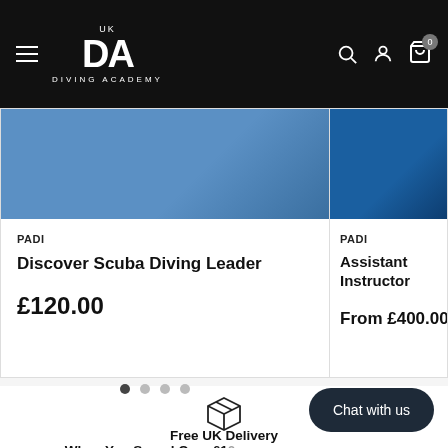UK Diving Academy
PADI
Discover Scuba Diving Leader
£120.00
PADI
Assistant Instructor
From £400.00
[Figure (illustration): Box/package icon representing free delivery]
Free UK Delivery
When You Spend Over £100
Chat with us